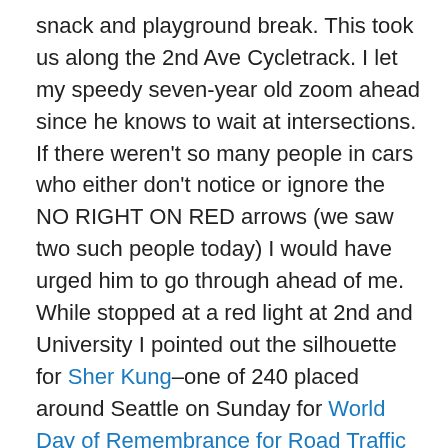snack and playground break. This took us along the 2nd Ave Cycletrack. I let my speedy seven-year old zoom ahead since he knows to wait at intersections. If there weren't so many people in cars who either don't notice or ignore the NO RIGHT ON RED arrows (we saw two such people today) I would have urged him to go through ahead of me. While stopped at a red light at 2nd and University I pointed out the silhouette for Sher Kung–one of 240 placed around Seattle on Sunday for World Day of Remembrance for Road Traffic Victims. We attended the memorial ride for Sher Kung two years ago, which was the reverse of this part of our route (Westlake Park to Occidental Park). The kids sat on the Big Dummy that day and we felt safe in the company of hundreds of other bikes, but I wouldn't have let them bike downtown on their own back then.